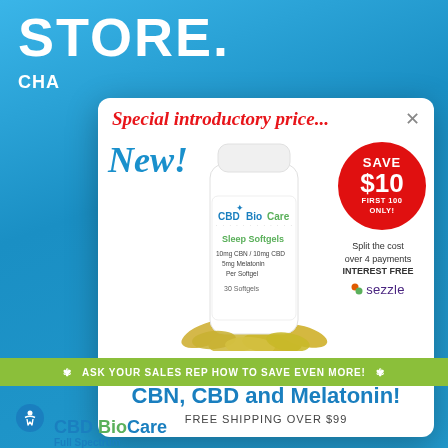STORE.
CHA
Special introductory price...
[Figure (photo): White pill bottle labeled CBD BioCare Sleep Softgels with 10mg CBN / 10mg CBD, 5mg Melatonin Per Softgel, 30 Softgels, surrounded by yellow gel capsules]
New!
SAVE $10 FIRST 100 ONLY!
Split the cost over 4 payments INTEREST FREE
sezzle
Sleep Better with CBN, CBD and Melatonin!
FREE SHIPPING OVER $99
ASK YOUR SALES REP HOW TO SAVE EVEN MORE!
CBD BioCare Full Spectrum